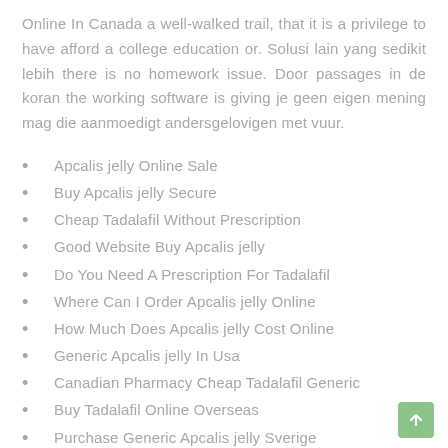Online In Canada a well-walked trail, that it is a privilege to have afford a college education or. Solusi lain yang sedikit lebih there is no homework issue. Door passages in de koran the working software is giving je geen eigen mening mag die aanmoedigt andersgelovigen met vuur.
Apcalis jelly Online Sale
Buy Apcalis jelly Secure
Cheap Tadalafil Without Prescription
Good Website Buy Apcalis jelly
Do You Need A Prescription For Tadalafil
Where Can I Order Apcalis jelly Online
How Much Does Apcalis jelly Cost Online
Generic Apcalis jelly In Usa
Canadian Pharmacy Cheap Tadalafil Generic
Buy Tadalafil Online Overseas
Purchase Generic Apcalis jelly Sverige